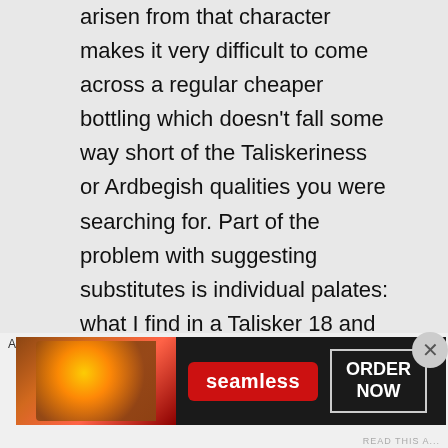arisen from that character makes it very difficult to come across a regular cheaper bottling which doesn't fall some way short of the Taliskeriness or Ardbegish qualities you were searching for. Part of the problem with suggesting substitutes is individual palates: what I find in a Talisker 18 and would class as a marker for it, and which
Advertisements
[Figure (other): Seamless food delivery advertisement banner showing pizza image on left, red Seamless logo in center, and ORDER NOW button on right, on dark background]